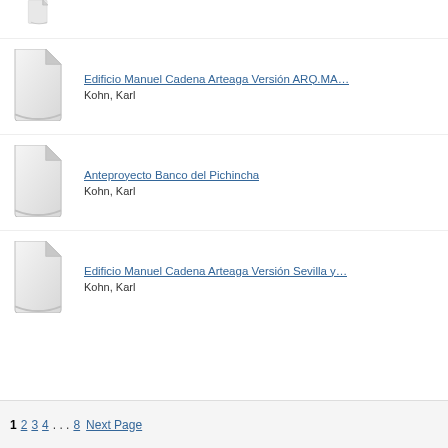[Figure (illustration): Generic document file icon (partially visible at top)]
Edificio Manuel Cadena Arteaga Versión ARQ.MA...
Kohn, Karl
Anteproyecto Banco del Pichincha
Kohn, Karl
Edificio Manuel Cadena Arteaga Versión Sevilla y...
Kohn, Karl
1 2 3 4 . . . 8 Next Page